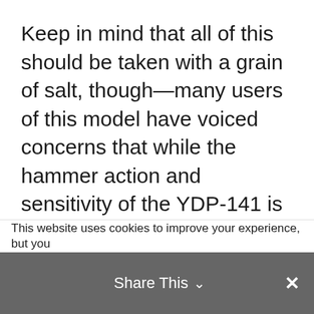Keep in mind that all of this should be taken with a grain of salt, though—many users of this model have voiced concerns that while the hammer action and sensitivity of the YDP-141 is close to the acoustic piano experience, it's not a perfect match. However, for the price, the simulation will probably close enough to the real thing for most buyers.
This website uses cookies to improve your experience, but you
Share This ∨  ✕